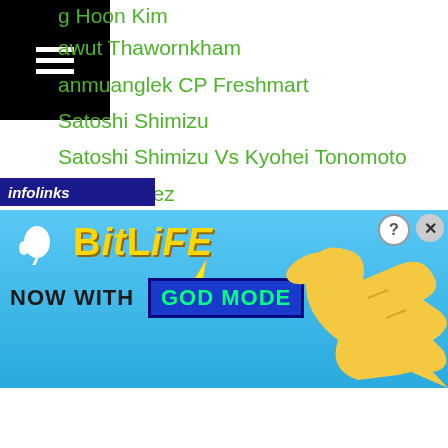g Hoon Kim
awut Thawornkham
anmuanglek CP Freshmart
Satoshi Shimizu
Satoshi Shimizu Vs Kyohei Tonomoto
Saul Alvarez
Saul Juarez
Scott Quigg
Seiya Meguro
Seiya Tsutsumi
Seiya Tsutsumi Vs Kenya Yamashita
Seiya Tsutsumi Vs Tulio Kuwabata
Seong Yeong Yang
Seong Yeong Yang Vs Fan Cai
Sergey Kovalev
Sergey Lipinets
...ubkovich
[Figure (screenshot): BitLife advertisement banner with 'NOW WITH GOD MODE' text on blue background with hand pointing graphic and infolinks label]